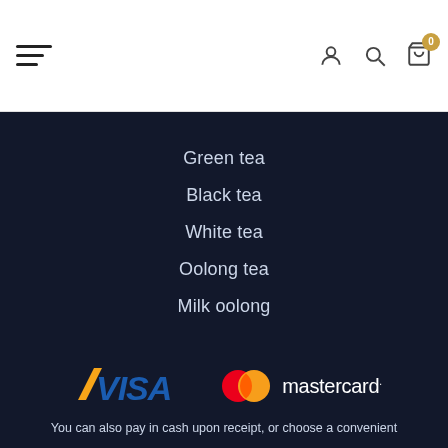[Figure (screenshot): Website header with hamburger menu icon on left, and user, search, and cart icons on right. Cart has badge showing 0.]
Green tea
Black tea
White tea
Oolong tea
Milk oolong
[Figure (logo): VISA logo and Mastercard logo side by side on dark background]
You can also pay in cash upon receipt, or choose a convenient